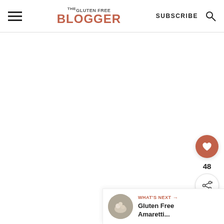THE GLUTEN FREE BLOGGER — SUBSCRIBE
[Figure (screenshot): Large white/blank content area in the middle of the page]
[Figure (infographic): Floating action buttons: heart (favourite) button with salmon/red background, count showing 48, and a share button with plus icon]
[Figure (infographic): What's Next bar at bottom right showing a circular thumbnail image of gluten free amaretti cookies and the text 'WHAT'S NEXT → Gluten Free Amaretti...']